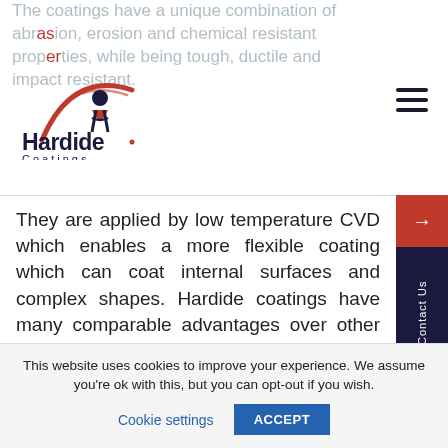The coatings have a unique combination of abrasion, erosion and chemical resistant properties, while being tough, ductile and impact resistant.
[Figure (logo): Hardide Coatings logo with red arc and figure motif above bold text 'Hardide Coatings']
They are applied by low temperature CVD which enables a more flexible coating which can coat internal surfaces and complex shapes. Hardide coatings have many comparable advantages over other hard facing coating technologies:
Exceptional toughness, flexibility and impact resistant.
This website uses cookies to improve your experience. We assume you're ok with this, but you can opt-out if you wish.
Cookie settings  ACCEPT